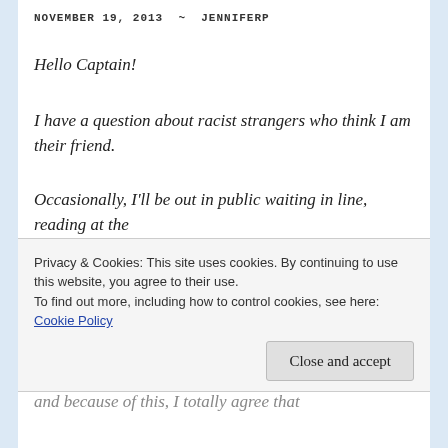NOVEMBER 19, 2013  ~  JENNIFERP
Hello Captain!
I have a question about racist strangers who think I am their friend.
Occasionally, I'll be out in public waiting in line, reading at the library or just waiting for the bus and a stranger will approach me
Privacy & Cookies: This site uses cookies. By continuing to use this website, you agree to their use. To find out more, including how to control cookies, see here: Cookie Policy
Close and accept
and because of this, I totally agree that